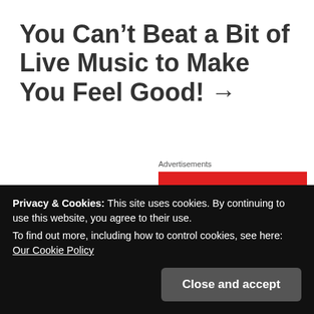You Can't Beat a Bit of Live Music to Make You Feel Good! →
Advertisements
[Figure (logo): Pocket Casts advertisement — red background with Pocket Casts logo (white circular podcast icon) and white bold text 'Pocket Casts']
Privacy & Cookies: This site uses cookies. By continuing to use this website, you agree to their use.
To find out more, including how to control cookies, see here: Our Cookie Policy